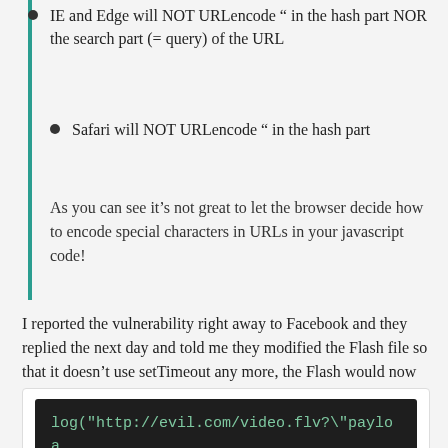IE and Edge will NOT URLencode " in the hash part NOR the search part (= query) of the URL
Safari will NOT URLencode " in the hash part
As you can see it's not great to let the browser decide how to encode special characters in URLs in your javascript code!
I reported the vulnerability right away to Facebook and they replied the next day and told me they modified the Flash file so that it doesn't use setTimeout any more, the Flash would now send
[Figure (screenshot): Dark code block showing: log("http://evil.com/video.flv?\"payload")]